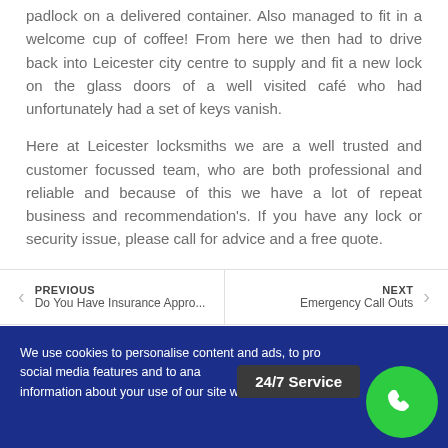padlock on a delivered container. Also managed to fit in a welcome cup of coffee! From here we then had to drive back into Leicester city centre to supply and fit a new lock on the glass doors of a well visited café who had unfortunately had a set of keys vanish.
Here at Leicester locksmiths we are a well trusted and customer focussed team, who are both professional and reliable and because of this we have a lot of repeat business and recommendation's. If you have any lock or security issue, please call for advice and a free quote.
PREVIOUS Do You Have Insurance Appro... | NEXT Emergency Call Outs
We use cookies to personalise content and ads, to pro... social media features and to ana... e a... information about your use of our site with our social me...
24/7 Service